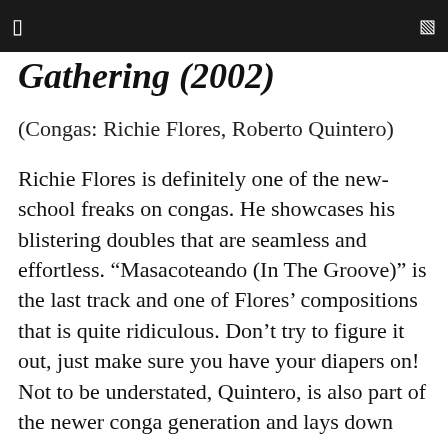Gathering (2002)
(Congas: Richie Flores, Roberto Quintero)
Richie Flores is definitely one of the new-school freaks on congas. He showcases his blistering doubles that are seamless and effortless. “Masacoteando (In The Groove)” is the last track and one of Flores’ compositions that is quite ridiculous. Don’t try to figure it out, just make sure you have your diapers on! Not to be understated, Quintero, is also part of the newer conga generation and lays down